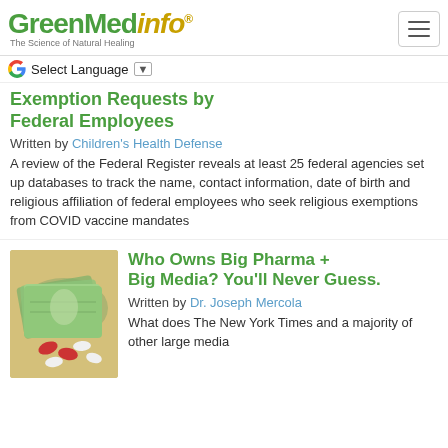GreenMedInfo - The Science of Natural Healing
Exemption Requests by Federal Employees
Written by Children's Health Defense
A review of the Federal Register reveals at least 25 federal agencies set up databases to track the name, contact information, date of birth and religious affiliation of federal employees who seek religious exemptions from COVID vaccine mandates
[Figure (photo): Stack of US hundred dollar bills fanned out with red and white pills/capsules on top]
Who Owns Big Pharma + Big Media? You'll Never Guess.
Written by Dr. Joseph Mercola
What does The New York Times and a majority of other large media